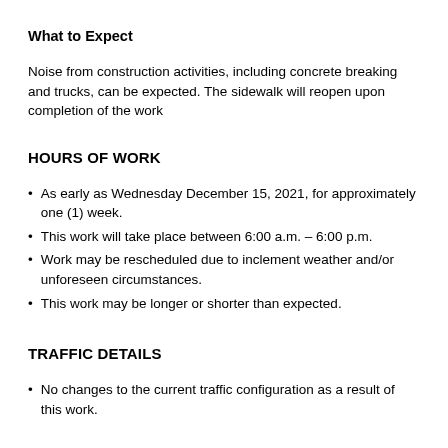What to Expect
Noise from construction activities, including concrete breaking and trucks, can be expected. The sidewalk will reopen upon completion of the work
HOURS OF WORK
As early as Wednesday December 15, 2021, for approximately one (1) week.
This work will take place between 6:00 a.m. – 6:00 p.m.
Work may be rescheduled due to inclement weather and/or unforeseen circumstances.
This work may be longer or shorter than expected.
TRAFFIC DETAILS
No changes to the current traffic configuration as a result of this work.